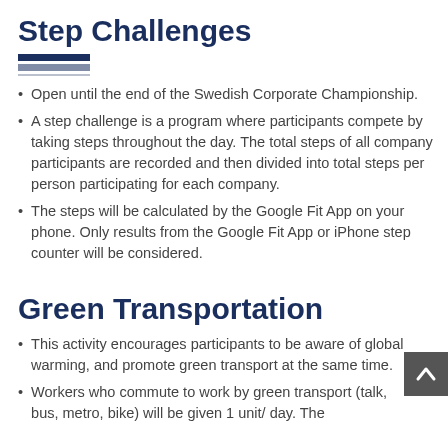Step Challenges
Open until the end of the Swedish Corporate Championship.
A step challenge is a program where participants compete by taking steps throughout the day. The total steps of all company participants are recorded and then divided into total steps per person participating for each company.
The steps will be calculated by the Google Fit App on your phone. Only results from the Google Fit App or iPhone step counter will be considered.
Green Transportation
This activity encourages participants to be aware of global warming, and promote green transport at the same time.
Workers who commute to work by green transport (talk, bus, metro, bike) will be given 1 unit/ day. The